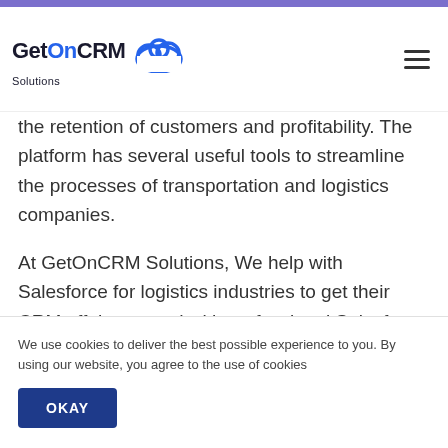GetOnCRM Solutions
the retention of customers and profitability. The platform has several useful tools to streamline the processes of transportation and logistics companies.
At GetOnCRM Solutions, We help with Salesforce for logistics industries to get their CRM off the ground with professional Salesforce development and Salesforce integration services catered to their specific
We use cookies to deliver the best possible experience to you. By using our website, you agree to the use of cookies
OKAY